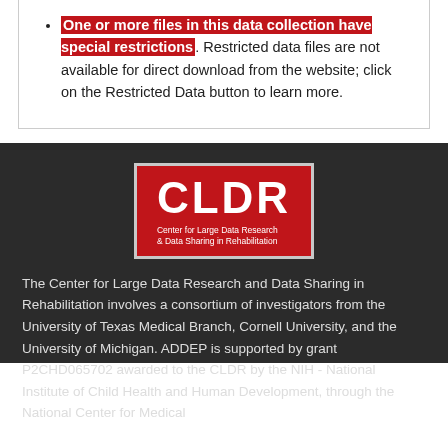One or more files in this data collection have special restrictions. Restricted data files are not available for direct download from the website; click on the Restricted Data button to learn more.
[Figure (logo): CLDR - Center for Large Data Research & Data Sharing in Rehabilitation logo, white text on red background]
The Center for Large Data Research and Data Sharing in Rehabilitation involves a consortium of investigators from the University of Texas Medical Branch, Cornell University, and the University of Michigan. ADDEP is supported by grant P2CHD065702 awarded to the CLDR by the NIH - National Institute of Child Health and Human Development, through the National Center for Medical